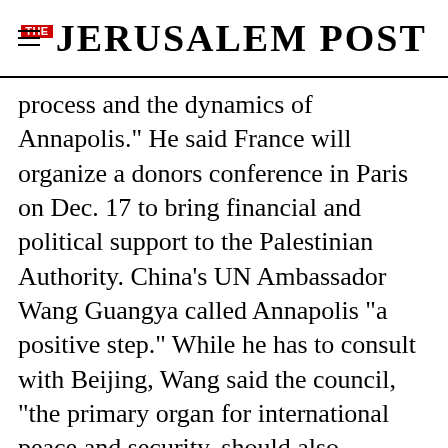THE JERUSALEM POST
process and the dynamics of Annapolis." He said France will organize a donors conference in Paris on Dec. 17 to bring financial and political support to the Palestinian Authority. China's UN Ambassador Wang Guangya called Annapolis "a positive step." While he has to consult with Beijing, Wang said the council, "the primary organ for international peace and security, should also announce itself on this particular event ...
Advertisement